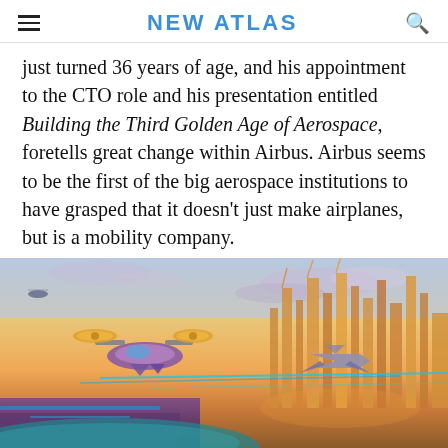NEW ATLAS
just turned 36 years of age, and his appointment to the CTO role and his presentation entitled Building the Third Golden Age of Aerospace, foretells great change within Airbus. Airbus seems to be the first of the big aerospace institutions to have grasped that it doesn't just make airplanes, but is a mobility company.
[Figure (illustration): Futuristic illustration of flying vehicles and air taxis over a sci-fi cityscape with tall buildings, laser beams, and a warm sunset sky.]